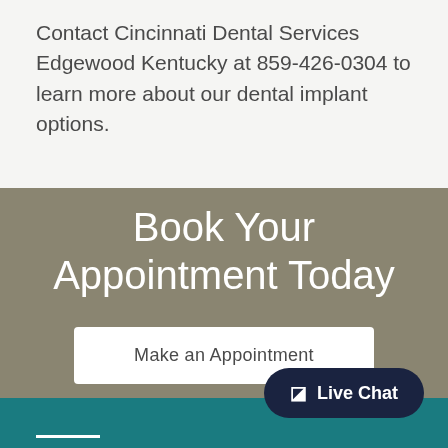Contact Cincinnati Dental Services Edgewood Kentucky at 859-426-0304 to learn more about our dental implant options.
Book Your Appointment Today
Make an Appointment
Live Chat